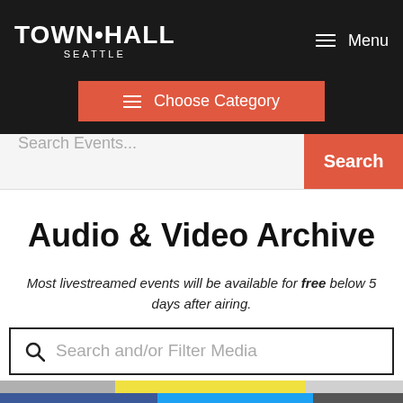TOWN·HALL SEATTLE
Menu
Choose Category
Search Events...
Search
Audio & Video Archive
Most livestreamed events will be available for free below 5 days after airing.
Search and/or Filter Media